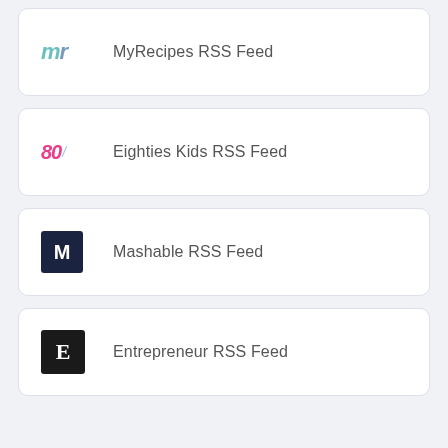MyRecipes RSS Feed
Eighties Kids RSS Feed
Mashable RSS Feed
Entrepreneur RSS Feed